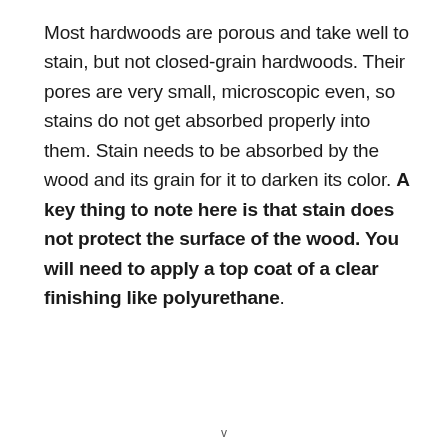Most hardwoods are porous and take well to stain, but not closed-grain hardwoods. Their pores are very small, microscopic even, so stains do not get absorbed properly into them. Stain needs to be absorbed by the wood and its grain for it to darken its color. A key thing to note here is that stain does not protect the surface of the wood. You will need to apply a top coat of a clear finishing like polyurethane.
v